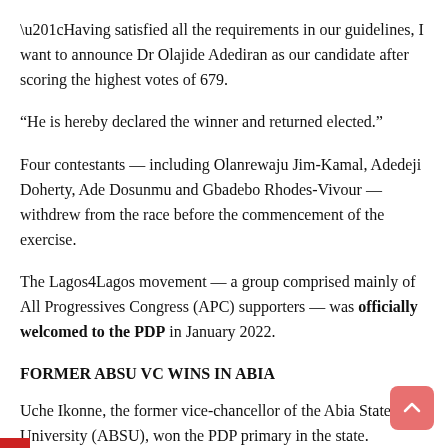“Having satisfied all the requirements in our guidelines, I want to announce Dr Olajide Adediran as our candidate after scoring the highest votes of 679.
“He is hereby declared the winner and returned elected.”
Four contestants — including Olanrewaju Jim-Kamal, Adedeji Doherty, Ade Dosunmu and Gbadebo Rhodes-Vivour — withdrew from the race before the commencement of the exercise.
The Lagos4Lagos movement — a group comprised mainly of All Progressives Congress (APC) supporters — was officially welcomed to the PDP in January 2022.
FORMER ABSU VC WINS IN ABIA
Uche Ikonne, the former vice-chancellor of the Abia State University (ABSU), won the PDP primary in the state.
He polled 468 votes to defeat five other contestants.